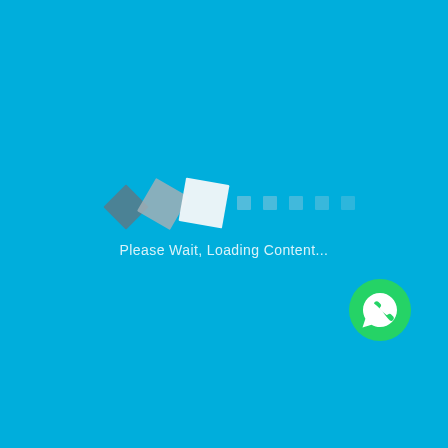[Figure (infographic): Loading spinner made of three rotating diamond/square shapes (dark grey, medium grey, white) followed by five small square dots fading from solid to lighter shades, on a bright cyan/sky-blue background. Below the spinner is the text 'Please Wait, Loading Content...'. A green circular WhatsApp button icon is positioned to the lower right.]
Please Wait, Loading Content...